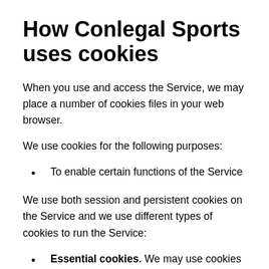How Conlegal Sports uses cookies
When you use and access the Service, we may place a number of cookies files in your web browser.
We use cookies for the following purposes:
To enable certain functions of the Service
We use both session and persistent cookies on the Service and we use different types of cookies to run the Service:
Essential cookies. We may use cookies to remember information that changes the way the Service behaves or looks, such as a user's